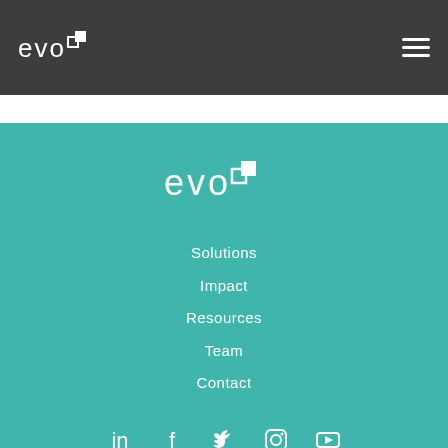[Figure (logo): Evo logo in white on dark grey header bar, top left]
[Figure (logo): Hamburger menu icon (three white horizontal lines) top right of header]
[Figure (logo): Evo logo centered in teal footer section]
Solutions
Impact
Resources
Team
Contact
[Figure (infographic): Social media icons row: LinkedIn, Facebook, Twitter, Instagram, YouTube]
© Evo Pricing